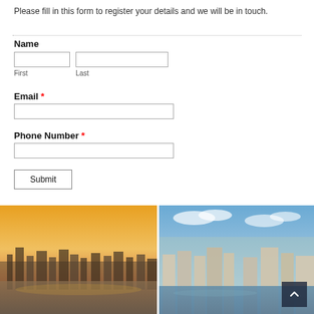Please fill in this form to register your details and we will be in touch.
Name
First  Last
Email *
Phone Number *
Submit
[Figure (photo): Aerial cityscape view of London at sunset with river Thames visible]
[Figure (photo): Aerial view of London riverside with modern residential buildings and river Thames]